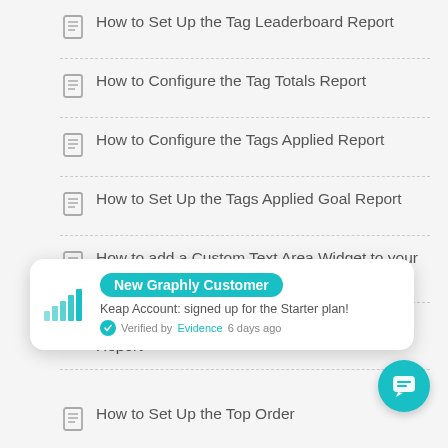How to Set Up the Tag Leaderboard Report
How to Configure the Tag Totals Report
How to Configure the Tags Applied Report
How to Set Up the Tags Applied Goal Report
How to add a Custom Text Area Widget to your Dashboard
How to Configure the Top Lead Attribution Report
[Figure (infographic): Notification popup: New Graphly Customer. Keap Account: signed up for the Starter plan! Verified by Evidence 6 days ago. Bar chart icon on left. Teal bar chart growing bars.]
How to Set Up the Top Order